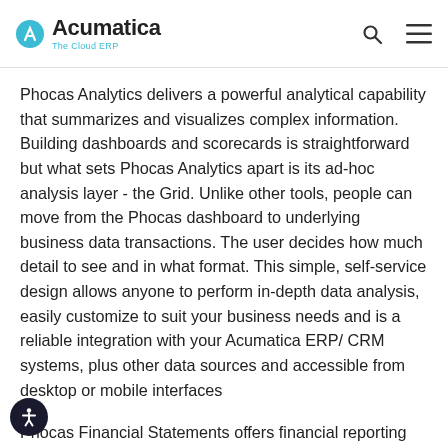Acumatica – The Cloud ERP
Phocas Analytics delivers a powerful analytical capability that summarizes and visualizes complex information. Building dashboards and scorecards is straightforward but what sets Phocas Analytics apart is its ad-hoc analysis layer - the Grid. Unlike other tools, people can move from the Phocas dashboard to underlying business data transactions. The user decides how much detail to see and in what format. This simple, self-service design allows anyone to perform in-depth data analysis, easily customize to suit your business needs and is a reliable integration with your Acumatica ERP/ CRM systems, plus other data sources and accessible from desktop or mobile interfaces
Phocas Financial Statements offers financial reporting and analysis that eliminates static spreadsheets. It allows your finance team to share financial